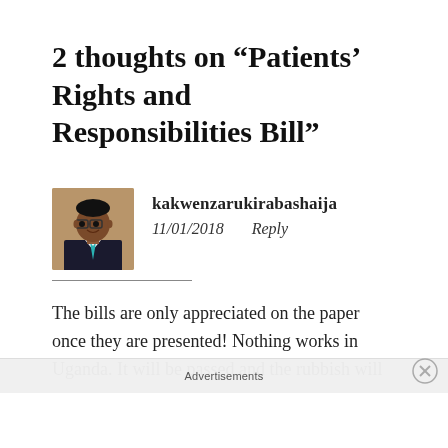2 thoughts on “Patients’ Rights and Responsibilities Bill”
kakwenzarukirabashaija
11/01/2018    Reply
The bills are only appreciated on the paper once they are presented! Nothing works in Uganda. It will be passed and the rubbish will
Advertisements